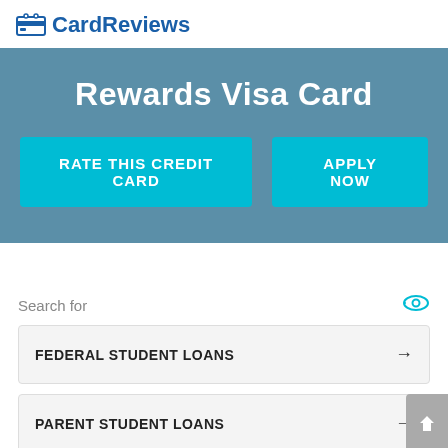CardReviews
Rewards Visa Card
RATE THIS CREDIT CARD
APPLY NOW
Search for
FEDERAL STUDENT LOANS
PARENT STUDENT LOANS
PRIVATE STUDENT LOANS